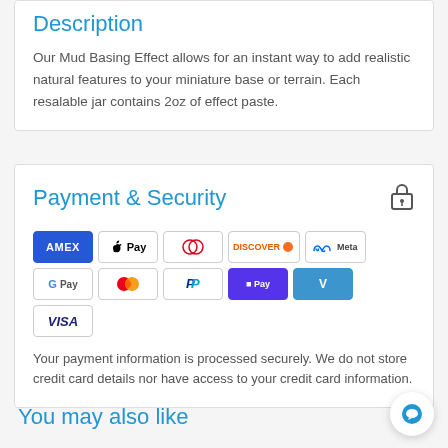Description
Our Mud Basing Effect allows for an instant way to add realistic natural features to your miniature base or terrain. Each resalable jar contains 2oz of effect paste.
Payment & Security
[Figure (other): Payment method icons: AMEX, Apple Pay, Diners Club, Discover, Meta Pay, Google Pay, Mastercard, PayPal, Shop Pay, Venmo, Visa]
Your payment information is processed securely. We do not store credit card details nor have access to your credit card information.
You may also like